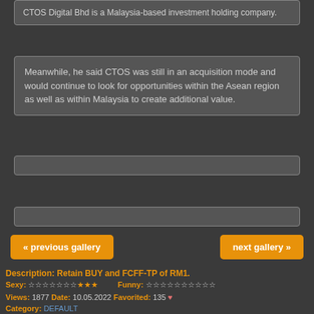CTOS Digital Bhd is a Malaysia-based investment holding company.
Meanwhile, he said CTOS was still in an acquisition mode and would continue to look for opportunities within the Asean region as well as within Malaysia to create additional value.
« previous gallery
next gallery »
Description: Retain BUY and FCFF-TP of RM1.
Sexy: ★★★ Funny:
Views: 1877 Date: 10.05.2022 Favorited: 135
Category: DEFAULT